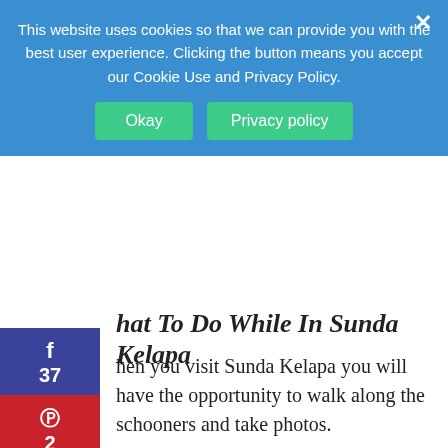This website uses cookies so that we can provide you with the best user experience. Clicking the button means you accept our Cookie Use and Privacy Policy.
hat To Do While In Sunda Kelapa
hen you visit Sunda Kelapa you will have the opportunity to walk along the schooners and take photos.
t another interesting activity that you might want to consider, is taking a small boat tour around the Port area.
Some of the local boaters at Sunda Kelapa are very observant, and quick to identify new visitors to the